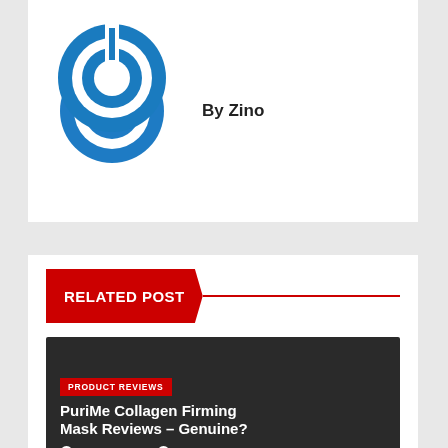[Figure (logo): Blue circular power button logo icon]
By Zino
RELATED POST
[Figure (other): Dark banner image for article]
PRODUCT REVIEWS
PuriMe Collagen Firming Mask Reviews – Genuine?
AUG 31, 2022   ZINO